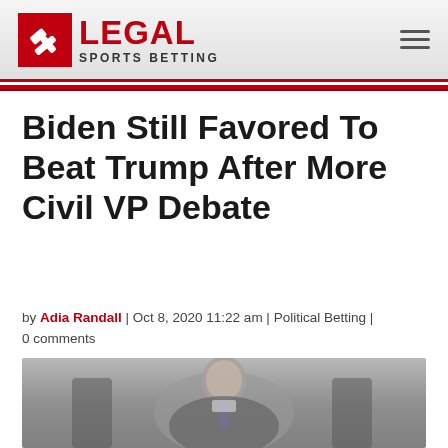LEGAL SPORTS BETTING
Biden Still Favored To Beat Trump After More Civil VP Debate
by Adia Randall | Oct 8, 2020 11:22 am | Political Betting | 0 comments
[Figure (photo): Photo of Joe Biden speaking, grey blurred background]